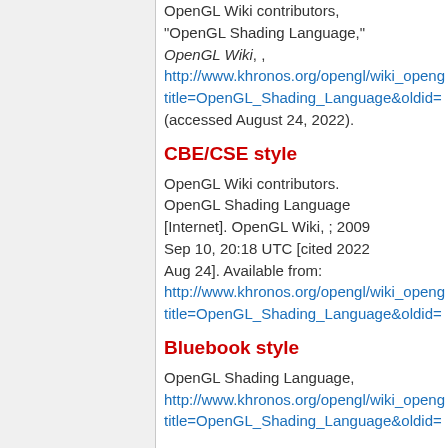OpenGL Wiki contributors, "OpenGL Shading Language," OpenGL Wiki, , http://www.khronos.org/opengl/wiki_opengl/title=OpenGL_Shading_Language&oldid= (accessed August 24, 2022).
CBE/CSE style
OpenGL Wiki contributors. OpenGL Shading Language [Internet]. OpenGL Wiki, ; 2009 Sep 10, 20:18 UTC [cited 2022 Aug 24]. Available from: http://www.khronos.org/opengl/wiki_opengl/title=OpenGL_Shading_Language&oldid=
Bluebook style
OpenGL Shading Language, http://www.khronos.org/opengl/wiki_opengl/title=OpenGL_Shading_Language&oldid=